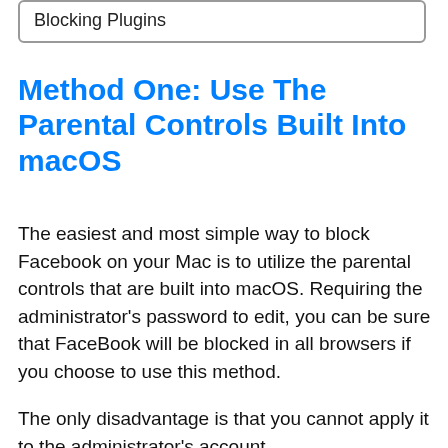Blocking Plugins
Method One: Use The Parental Controls Built Into macOS
The easiest and most simple way to block Facebook on your Mac is to utilize the parental controls that are built into macOS. Requiring the administrator's password to edit, you can be sure that FaceBook will be blocked in all browsers if you choose to use this method.
The only disadvantage is that you cannot apply it to the administrator's account